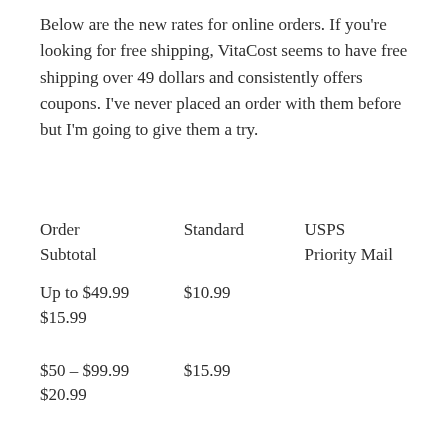Below are the new rates for online orders. If you're looking for free shipping, VitaCost seems to have free shipping over 49 dollars and consistently offers coupons. I've never placed an order with them before but I'm going to give them a try.
| Order Subtotal | Standard | USPS Priority Mail |
| --- | --- | --- |
| Up to $49.99 | $10.99 | $15.99 |
| $50 – $99.99 | $15.99 | $20.99 |